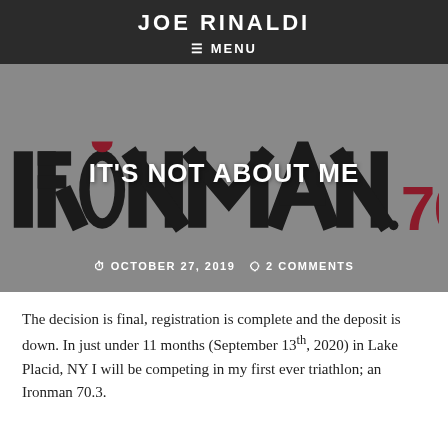JOE RINALDI
≡ MENU
[Figure (illustration): Hero banner with IRONMAN 70.3 logo on grey background, overlaid with the blog post title IT'S NOT ABOUT ME in white bold text, and metadata showing OCTOBER 27, 2019 and 2 COMMENTS below.]
IT'S NOT ABOUT ME
OCTOBER 27, 2019   2 COMMENTS
The decision is final, registration is complete and the deposit is down. In just under 11 months (September 13th, 2020) in Lake Placid, NY I will be competing in my first ever triathlon; an Ironman 70.3.